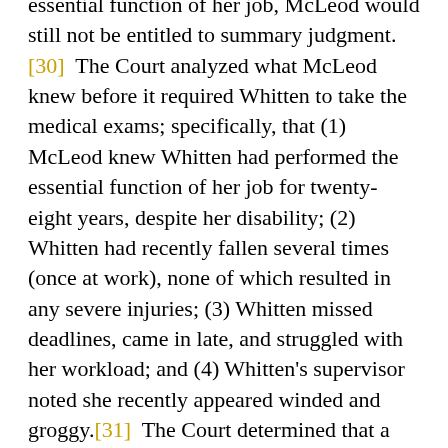essential function of her job, McLeod would still not be entitled to summary judgment.[30]  The Court analyzed what McLeod knew before it required Whitten to take the medical exams; specifically, that (1) McLeod knew Whitten had performed the essential function of her job for twenty-eight years, despite her disability; (2) Whitten had recently fallen several times (once at work), none of which resulted in any severe injuries; (3) Whitten missed deadlines, came in late, and struggled with her workload; and (4) Whitten's supervisor noted she recently appeared winded and groggy.[31]  The Court determined that a reasonable jury, based on the evidence, could have found that McLeod lacked a reasonable, objective basis for requiring Whitten to undergo work-related medical exams.[32]

As to the wrongful-discharge claim, the question at issue was whether the EEOC had